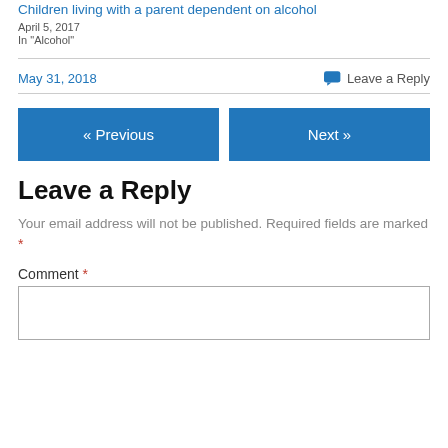Children living with a parent dependent on alcohol
April 5, 2017
In "Alcohol"
May 31, 2018
Leave a Reply
« Previous
Next »
Leave a Reply
Your email address will not be published. Required fields are marked *
Comment *